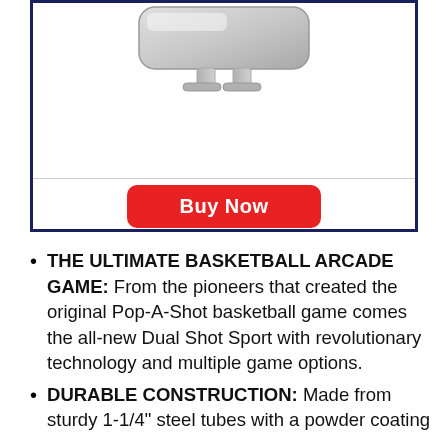[Figure (photo): Partial product image of a basketball arcade game backboard/display unit, silver/grey colored, shown at top inside a dark navy bordered box]
Buy Now
THE ULTIMATE BASKETBALL ARCADE GAME: From the pioneers that created the original Pop-A-Shot basketball game comes the all-new Dual Shot Sport with revolutionary technology and multiple game options.
DURABLE CONSTRUCTION: Made from sturdy 1-1/4" steel tubes with a powder coating